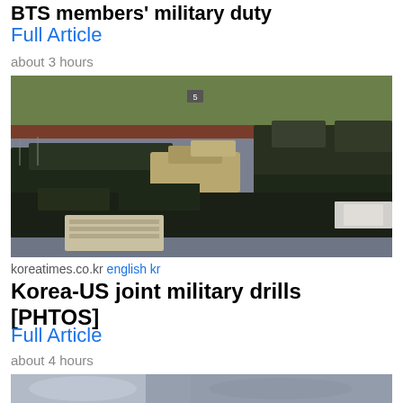BTS members' military duty
Full Article
about 3 hours
[Figure (photo): Military vehicles and equipment parked on a wet tarmac at an airfield, with green fields in the background.]
koreatimes.co.kr english kr
Korea-US joint military drills [PHTOS]
Full Article
about 4 hours
[Figure (photo): Partial view of another news article image, blurred, at the bottom of the page.]